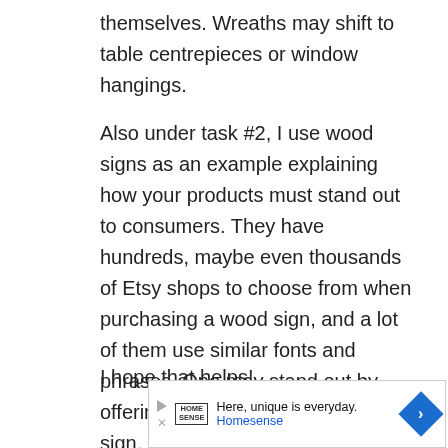themselves. Wreaths may shift to table centrepieces or window hangings.
Also under task #2, I use wood signs as an example explaining how your products must stand out to consumers. They have hundreds, maybe even thousands of Etsy shops to choose from when purchasing a wood sign, and a lot of them use similar fonts and phrases. One may stand out by offering a different type of wood sign, different style, different phrases, different sizes, etc.
I hope that helps!
[Figure (other): Advertisement banner for Homesense: 'Here, unique is everyday.' with Homesense logo, play/close icons, and a blue diamond arrow icon.]